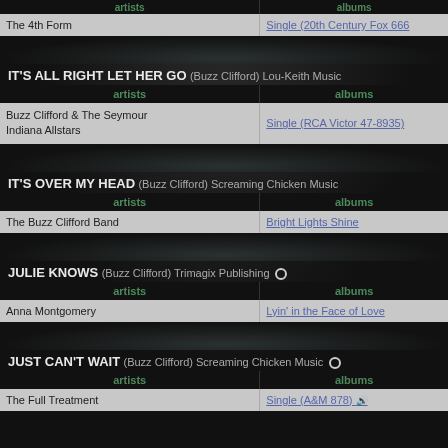| artists | albums |
| --- | --- |
| The 4th Form | Single (20th Century Fox 666 |
IT'S ALL RIGHT LET HER GO (Buzz Clifford) Lou-Keith Music
| artists | albums |
| --- | --- |
| Buzz Clifford & The Seymour Indiana Allstars | Single (RCA Victor 47-8935) |
IT'S OVER MY HEAD (Buzz Clifford) Screaming Chicken Music
| artists | albums |
| --- | --- |
| The Buzz Clifford Band | Bright Lights Shine |
JULIE KNOWS (Buzz Clifford) Trimagix Publishing
| artists | albums |
| --- | --- |
| Anna Montgomery | Lyin' in the Face of Love |
JUST CAN'T WAIT (Buzz Clifford) Screaming Chicken Music
| artists | albums |
| --- | --- |
| The Full Treatment | Single (A&M 878) |